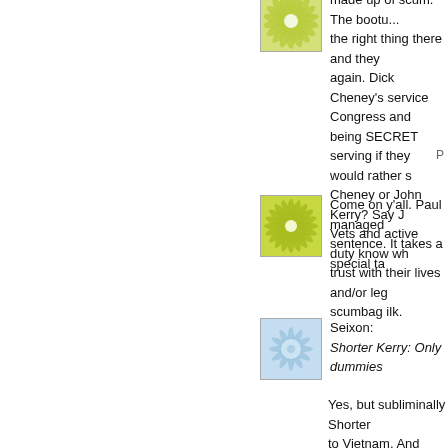made up of scum. The boots... the right thing there and they... again. Dick Cheney's service... Congress and being SECRET... serving if they would rather s... Cheney or John Kerry? Say J... Vets and active duty know wh... trust with their lives and/or leg... scumbag ilk.
[Figure (illustration): Green starburst/flower pattern avatar icon on white background]
Come on y'all. Paul managed... sentence. It takes a special ta...
[Figure (illustration): Blue abstract circular pattern avatar icon]
Seixon:
Shorter Kerry: Only dummies...
Yes, but subliminally Shorter... to Vietnam. And while as a br... is not true, he does speak wi... case specifically.